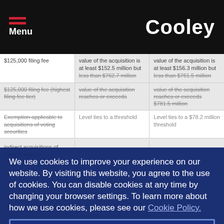Menu | Cooley
| Column 1 | Column 2 | Column 3 |
| --- | --- | --- |
| $125,000 filing fee | value of the acquisition is at least $152.5 million but less than $762.7 million | value of the acquisition is at least $156.3 million but less than $761.5 million |
| $125,000 filing fee (highest filing fee tier) | value of the acquisition reaches or exceeds $762.7 million | value of the acquisition reaches or exceeds $781.5 million |
| Exemption applicable to acquisitions of voting securities | Level ties to a threshold | Level ties to a $78.2 million threshold |
|  | indirect acquisitions of exempt assets |  |
We use cookies to improve your experience on our website. By visiting this website, you agree to the use of cookies. You can disable cookies at any time by changing your browser settings. To learn more about how we use cookies, please see our Cookie Policy.
Dismiss